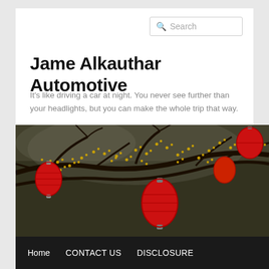Search
Jame Alkauthar Automotive
It's like driving a car at night. You never see further than your headlights, but you can make the whole trip that way.
[Figure (photo): Banner photo of tree branches with yellow blossoms and red Chinese lanterns hanging from them, dark background]
Home
CONTACT US
DISCLOSURE
Sitemap